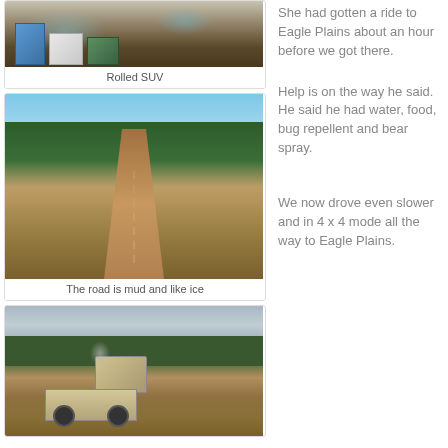[Figure (photo): Rolled SUV with camping gear and boxes visible on dirt ground, partial view]
Rolled SUV
She had gotten a ride to Eagle Plains about an hour before we got there.
[Figure (photo): Dirt road through boreal forest with trees on both sides under blue sky]
The road is mud and like ice
Help is on the way he said. He said he had water, food, bug repellent and bear spray.
[Figure (photo): Large dump truck on dirt road through forest with overcast sky]
We now drove even slower and in 4 x 4 mode all the way to Eagle Plains.